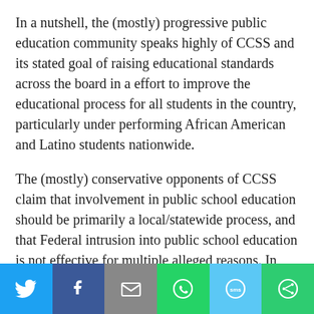In a nutshell, the (mostly) progressive public education community speaks highly of CCSS and its stated goal of raising educational standards across the board in a effort to improve the educational process for all students in the country, particularly under performing African American and Latino students nationwide.
The (mostly) conservative opponents of CCSS claim that involvement in public school education should be primarily a local/statewide process, and that Federal intrusion into public school education is not effective for multiple alleged reasons. In addition, there are disputes involving the CCSS curriculum itself whereas proponents cite multiple sources of research that allegedly support the efficacy of the education content.
Opponents also cite similar competing references that support
[Figure (infographic): Social media sharing bar with icons for Twitter (blue), Facebook (dark blue), Email (gray), WhatsApp (green), SMS (light blue), and a share/other button (green)]